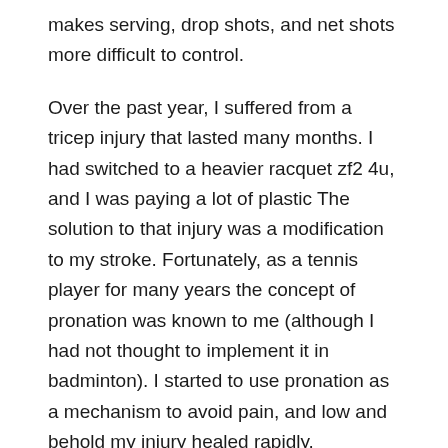makes serving, drop shots, and net shots more difficult to control.
Over the past year, I suffered from a tricep injury that lasted many months. I had switched to a heavier racquet zf2 4u, and I was paying a lot of plastic The solution to that injury was a modification to my stroke. Fortunately, as a tennis player for many years the concept of pronation was known to me (although I had not thought to implement it in badminton). I started to use pronation as a mechanism to avoid pain, and low and behold my injury healed rapidly.